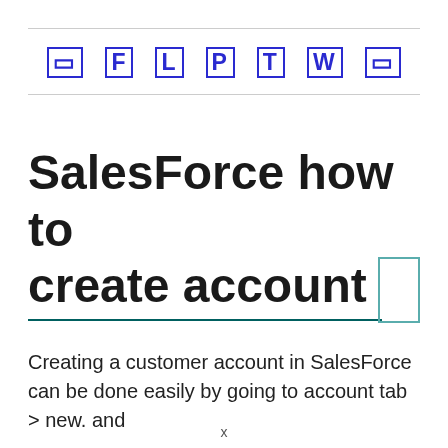□ F L P T W □
SalesForce how to create account
Creating a customer account in SalesForce can be done easily by going to account tab > new. and